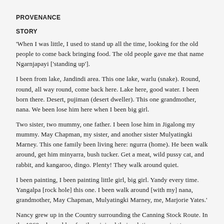PROVENANCE
STORY
'When I was little, I used to stand up all the time, looking for the old people to come back bringing food. The old people gave me that name Ngarnjapayi ['standing up'].
I been from lake, Jandindi area. This one lake, warlu (snake). Round, round, all way round, come back here. Lake here, good water. I been born there. Desert, pujiman (desert dweller). This one grandmother, nana. We been lose him here when I been big girl.
Two sister, two mummy, one father. I been lose him in Jigalong my mummy. May Chapman, my sister, and another sister Mulyatingki Marney. This one family been living here: ngurra (home). He been walk around, get him minyarra, bush tucker. Get a meat, wild pussy cat, and rabbit, and kangaroo, dingo. Plenty! They walk around quiet.
I been painting, I been painting little girl, big girl. Yandy every time. Yangalpa [rock hole] this one. I been walk around [with my] nana, grandmother, May Chapman, Mulyatingki Marney, me, Marjorie Yates.'
Nancy grew up in the Country surrounding the Canning Stock Route. In the 1960s she and her family rejoined their relatives, moving to Jigalong. She is the sister of Donald Moko, Mulyatingki Marney and May